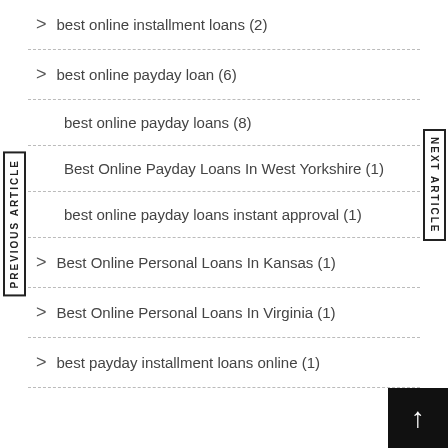best online installment loans (2)
best online payday loan (6)
best online payday loans (8)
Best Online Payday Loans In West Yorkshire (1)
best online payday loans instant approval (1)
Best Online Personal Loans In Kansas (1)
Best Online Personal Loans In Virginia (1)
best payday installment loans online (1)